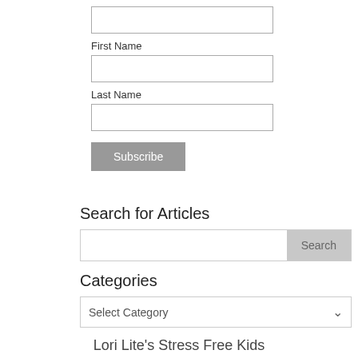First Name
Last Name
Subscribe
Search for Articles
Search
Categories
Select Category
Lori Lite's Stress Free Kids